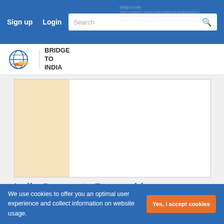Sign up  Login  Search
[Figure (logo): Bridge to India logo — globe icon with BRIDGE TO INDIA text]
[Figure (photo): Article preview card with beige/cream left panel image placeholder]
India Corporate Renewable Brief | Q1 2022 🌟
Our latest edition of quarterly report provides a detailed regular update on key trends and developments in the C&I renewable market....
BUY REPORT
We use cookies to offer you an optimal user experience and collect information on website usage.  Yes, I accept cookies